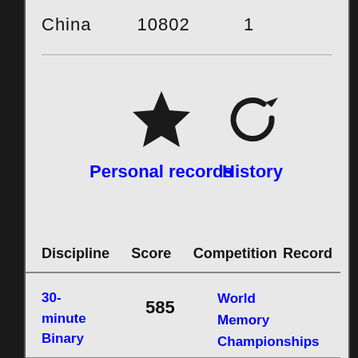| China | 10802 | 1 |
[Figure (other): Star icon for Personal records section]
Personal records
[Figure (other): History/refresh icon for History section]
History
| Discipline | Score | Competition | Record |
| --- | --- | --- | --- |
| 30-minute Binary | 585 | World Memory Championships 2015 |  |